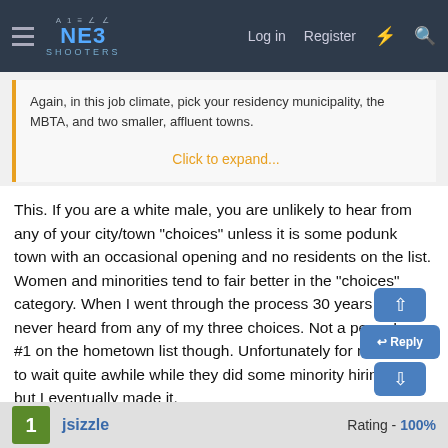NE3 Shooters — Log in  Register
Again, in this job climate, pick your residency municipality, the MBTA, and two smaller, affluent towns.
Click to expand...
This. If you are a white male, you are unlikely to hear from any of your city/town "choices" unless it is some podunk town with an occasional opening and no residents on the list. Women and minorities tend to fair better in the "choices" category. When I went through the process 30 years ago, I never heard from any of my three choices. Not a peep. I was #1 on the hometown list though. Unfortunately for me, I had to wait quite awhile while they did some minority hiring first, but I eventually made it.
jsizzle
Rating - 100%